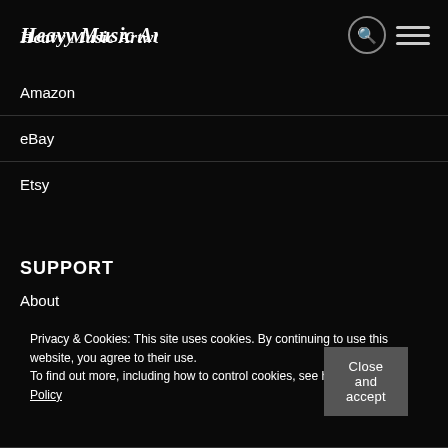[Figure (logo): Heavy Music Artwork logo in gothic/metal style white text on black background]
Amazon
eBay
Etsy
SUPPORT
About
Privacy & Cookies: This site uses cookies. By continuing to use this website, you agree to their use.
To find out more, including how to control cookies, see here: Cookie Policy
Close and accept